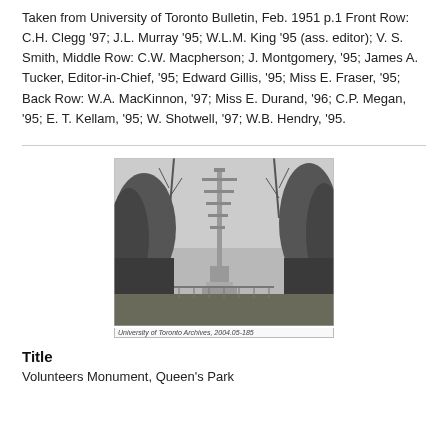Taken from University of Toronto Bulletin, Feb. 1951 p.1 Front Row: C.H. Clegg '97; J.L. Murray '95; W.L.M. King '95 (ass. editor); V. S. Smith, Middle Row: C.W. Macpherson; J. Montgomery, '95; James A. Tucker, Editor-in-Chief, '95; Edward Gillis, '95; Miss E. Fraser, '95; Back Row: W.A. MacKinnon, '97; Miss E. Durand, '96; C.P. Megan, '95; E. T. Kellam, '95; W. Shotwell, '97; W.B. Hendry, '95.
[Figure (photo): Black and white historical photograph of the Volunteers Monument in Queen's Park, Toronto, showing bare trees and a tall ornate monument structure. Caption reads: University of Toronto Archives, 2004.05-185]
Title
Volunteers Monument, Queen's Park